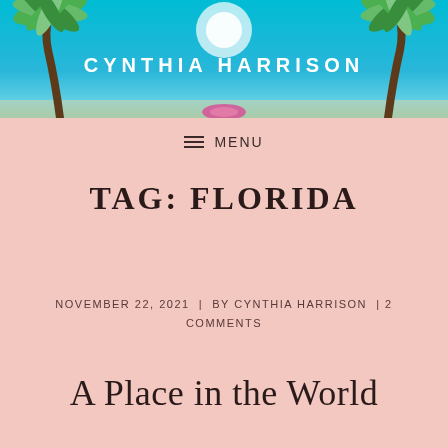[Figure (illustration): Tropical header banner with palm trees on left and right sides, turquoise sky background, and 'CYNTHIA HARRISON' text in white uppercase letters in the center]
≡  MENU
TAG: FLORIDA
NOVEMBER 22, 2021  |  BY CYNTHIA HARRISON  | 2 COMMENTS
A Place in the World